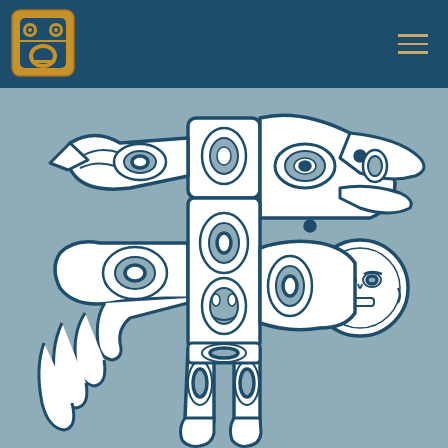[Figure (logo): Indigenous organization logo in gold/amber tones showing a stylized face/mask design in the top-left corner of a dark teal header bar]
[Figure (illustration): Northwest Coast Indigenous art style illustration of a totem pole or thunderbird/raven figure in white with dark teal outlines on a steel-blue/grey background. The figure features a large bird head with prominent beak on the right side, spread wings, a central body, a moon face medallion on the right, and legs/feet at the bottom. The artwork uses traditional formline design elements including ovoids, U-forms, and split U-forms.]